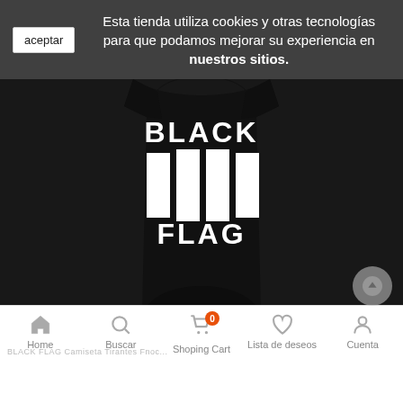aceptar — Esta tienda utiliza cookies y otras tecnologías para que podamos mejorar su experiencia en nuestros sitios.
[Figure (photo): Black tank top with Black Flag band logo: bold white text 'BLACK' at top, four white vertical bars (bar logo), and white text 'FLAG' below, on a black shirt worn on a person's torso]
Home | Buscar | Shoping Cart 0 | Lista de deseos | Cuenta